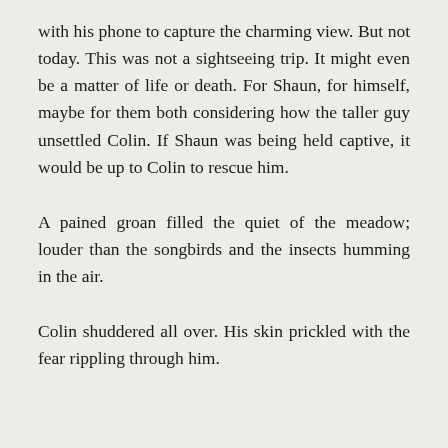with his phone to capture the charming view. But not today. This was not a sightseeing trip. It might even be a matter of life or death. For Shaun, for himself, maybe for them both considering how the taller guy unsettled Colin. If Shaun was being held captive, it would be up to Colin to rescue him.
A pained groan filled the quiet of the meadow; louder than the songbirds and the insects humming in the air.
Colin shuddered all over. His skin prickled with the fear rippling through him.